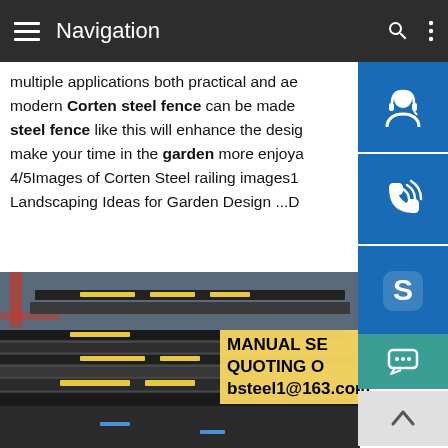Navigation
multiple applications both practical and ae modern Corten steel fence can be made steel fence like this will enhance the desig make your time in the garden more enjoya 4/5Images of Corten Steel railing images1 Landscaping Ideas for Garden Design ...D
[Figure (photo): Stack of Corten/weathering steel plates with yellow labels, piled in an industrial yard]
[Figure (infographic): Right sidebar with three blue icon buttons (headset/customer service, phone, Skype) and contact info overlay: MANUAL SE... QUOTING O... bsteel1@163.com]
MANUAL SE QUOTING O bsteel1@163.com